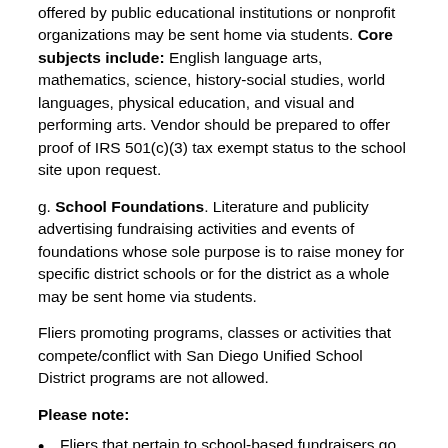offered by public educational institutions or nonprofit organizations may be sent home via students. Core subjects include: English language arts, mathematics, science, history-social studies, world languages, physical education, and visual and performing arts. Vendor should be prepared to offer proof of IRS 501(c)(3) tax exempt status to the school site upon request.
g. School Foundations. Literature and publicity advertising fundraising activities and events of foundations whose sole purpose is to raise money for specific district schools or for the district as a whole may be sent home via students.
Fliers promoting programs, classes or activities that compete/conflict with San Diego Unified School District programs are not allowed.
Please note:
Fliers that pertain to school-based fundraisers go